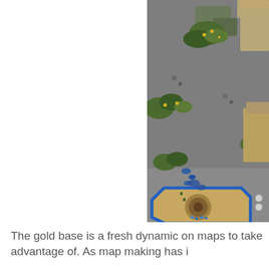[Figure (screenshot): A top-down isometric screenshot of a StarCraft-style real-time strategy game map, showing a 'gold base' area with sandy/tan terrain enclosed by blue-bordered walls in an octagonal shape, surrounded by green vegetation, rocks, and grey terrain. Blue mineral clusters and unit sprites are visible inside and around the base.]
The gold base is a fresh dynamic on maps to take advantage of. As map making has i